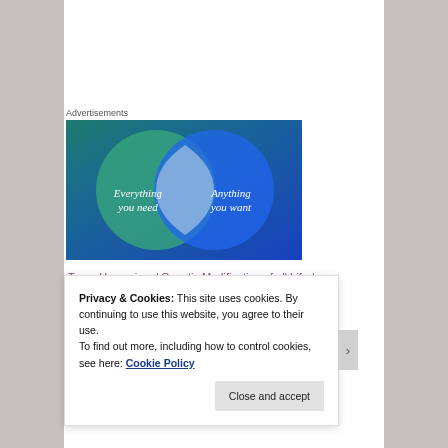Advertisements
[Figure (illustration): Venn diagram advertisement with two overlapping circles on a blue-green gradient background. Left circle (green-teal) contains text 'Everything you need'. Right circle (blue) contains text 'Anything you want'. Overlapping area is light grey-white.]
Trans-Humanism / Genetic Modification of all Life / Nano-Technology / HAARP / Geoengineering – Film
Privacy & Cookies: This site uses cookies. By continuing to use this website, you agree to their use.
To find out more, including how to control cookies, see here: Cookie Policy
Close and accept